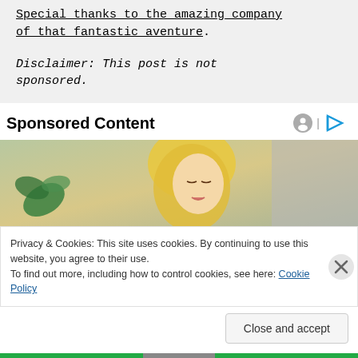Special thanks to the amazing company of that fantastic aventure.
Disclaimer: This post is not sponsored.
Sponsored Content
[Figure (photo): Photo of a blonde woman looking down, with green plant and light background]
Privacy & Cookies: This site uses cookies. By continuing to use this website, you agree to their use.
To find out more, including how to control cookies, see here: Cookie Policy
Close and accept